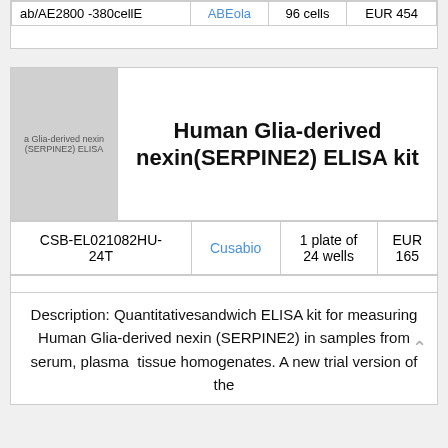| Product ID | Supplier | Qty | Price |
| --- | --- | --- | --- |
| ab/AE2800 -380cell | ABEola | 96 cells | EUR 454 |
[Figure (photo): Product image placeholder for Human Glia-derived nexin (SERPINE2) ELISA kit, grey square with text overlay]
Human Glia-derived nexin(SERPINE2) ELISA kit
| Product Code | Supplier | Quantity | Price |
| --- | --- | --- | --- |
| CSB-EL021082HU-24T | Cusabio | 1 plate of 24 wells | EUR 165 |
Description: Quantitativesandwich ELISA kit for measuring Human Glia-derived nexin (SERPINE2) in samples from serum, plasma tissue homogenates. A new trial version of the